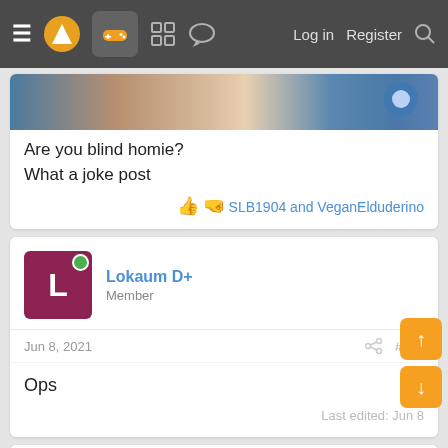Navigation bar with menu, logo, game icon, Log in, Register, Search
[Figure (screenshot): Partial game/media image banner at top of first post card]
Are you blind homie?
What a joke post
SLB1904 and VeganElduderino
Lokaum D+ Member
Jun 8, 2021 #537
Ops
Last edited: Jun 8
MasterCornholio Member